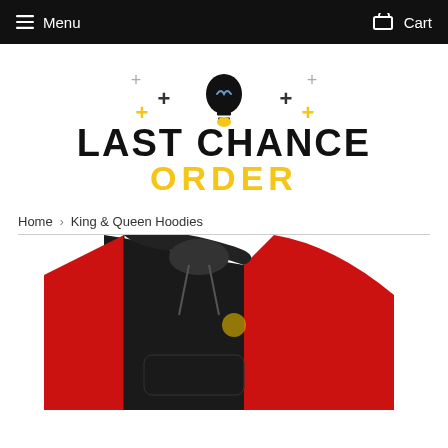Menu   Cart
[Figure (logo): Last Chance Order logo with lightbulb icon and decorative plus signs. Text reads LAST CHANCE in bold black, ORDER in bold yellow.]
Home › King & Queen Hoodies
[Figure (photo): Partial photo of a red and black hoodie sweatshirt, cropped at the bottom of the page.]